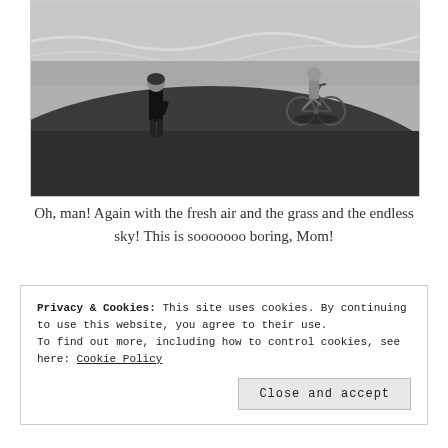[Figure (photo): Black and white photograph of a child standing on grass near a beach, with another child on a bicycle in the background near the ocean waves.]
Oh, man! Again with the fresh air and the grass and the endless sky! This is sooooooo boring, Mom!
Privacy & Cookies: This site uses cookies. By continuing to use this website, you agree to their use.
To find out more, including how to control cookies, see here: Cookie Policy
Close and accept